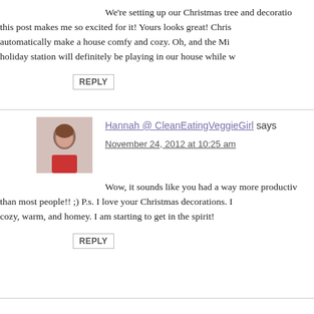We're setting up our Christmas tree and decoration this post makes me so excited for it! Yours looks great! Chris automatically make a house comfy and cozy. Oh, and the Mi holiday station will definitely be playing in our house while w
REPLY
Hannah @ CleanEatingVeggieGirl says
November 24, 2012 at 10:25 am
Wow, it sounds like you had a way more productiv than most people!! ;) P.s. I love your Christmas decorations. I cozy, warm, and homey. I am starting to get in the spirit!
REPLY